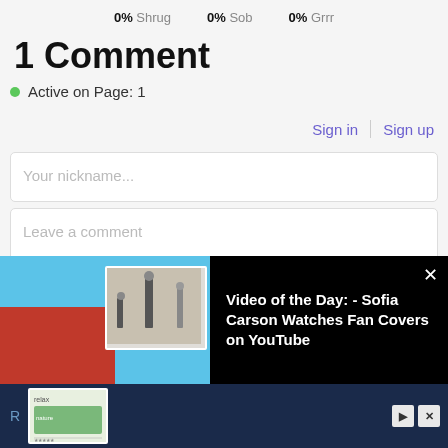0% Shrug  0% Sob  0% Grrr
1 Comment
Active on Page: 1
Sign in | Sign up
Your nickname...
Leave a comment
[Figure (screenshot): Video of the Day promo banner: Sofia Carson Watches Fan Covers on YouTube, with photo of woman in red and inset video thumbnail]
[Figure (screenshot): Advertisement banner at bottom with Relax app imagery]